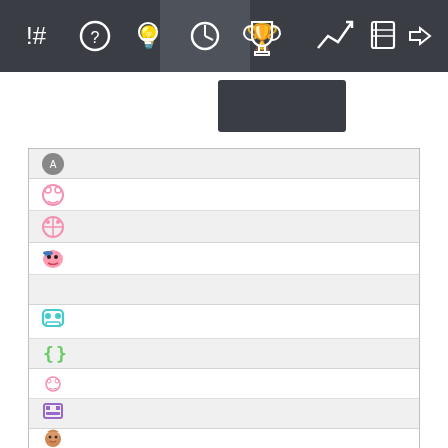[Figure (screenshot): Navigation bar with icons: exclamation/hash, question mark, lightbulb, clock, trophy (active/highlighted), trending chart, notebook, and a login arrow on the right. Dark gray background.]
[Figure (screenshot): Dark gray dropdown/button box below the navigation bar.]
[Figure (screenshot): A leaderboard or user list showing rows of pixel-art avatar icons. Each row alternates light gray and white background. Avatars include: a locked/badge icon, a pink cartoon character, a pink crosshair character, a Kirby-with-hat character, an empty white row, a teal robot/mask character, a green bracket character, a pink smaller character, a purple pixel character, and a brown anime girl character.]